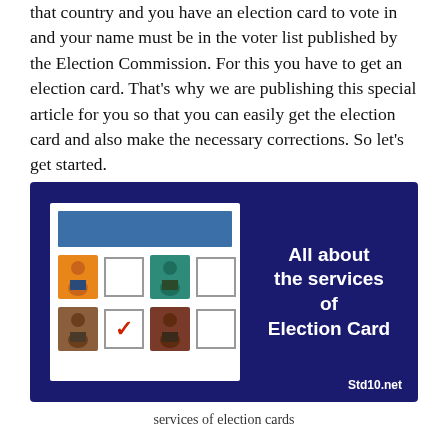that country and you have an election card to vote in and your name must be in the voter list published by the Election Commission. For this you have to get an election card. That's why we are publishing this special article for you so that you can easily get the election card and also make the necessary corrections. So let's get started.
[Figure (infographic): Dark navy blue infographic banner showing an election/voter card icon on the left (white card with blue header bar, voter avatars and checkboxes) and bold white text on the right reading 'All about the services of Election Card' with 'Std10.net' watermark at bottom right.]
services of election cards